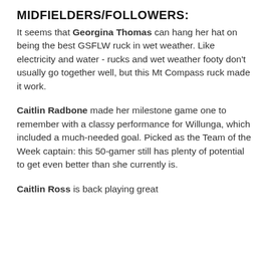MIDFIELDERS/FOLLOWERS:
It seems that Georgina Thomas can hang her hat on being the best GSFLW ruck in wet weather. Like electricity and water - rucks and wet weather footy don't usually go together well, but this Mt Compass ruck made it work.
Caitlin Radbone made her milestone game one to remember with a classy performance for Willunga, which included a much-needed goal. Picked as the Team of the Week captain: this 50-gamer still has plenty of potential to get even better than she currently is.
Caitlin Ross is back playing great